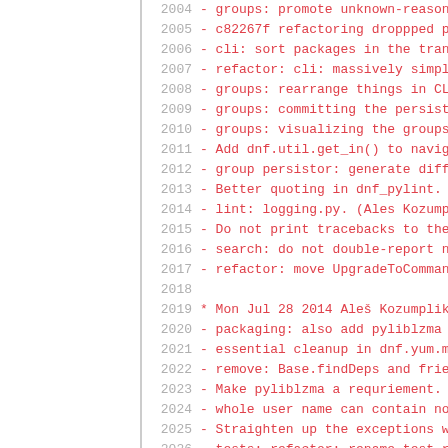Code listing / changelog snippet lines 2004-2028
2004 - groups: promote unknown-reason instal...
2005 - c82267f refactoring droppped plugins.r...
2006 - cli: sort packages in the transaction...
2007 - refactor: cli: massively simplify how...
2008 - groups: rearrange things in CLI so use...
2009 - groups: committing the persistor data...
2010 - groups: visualizing the groups transac...
2011 - Add dnf.util.get_in() to navigate nest...
2012 - group persistor: generate diffs betwee...
2013 - Better quoting in dnf_pylint. (Ales Ko...
2014 - lint: logging.py. (Ales Kozumplik)
2015 - Do not print tracebacks to the tty on...
2016 - search: do not double-report no matche...
2017 - refactor: move UpgradeToCommand to its...
2018
2019 * Mon Jul 28 2014 Ales Kozumplik <ales@r...
2020 - packaging: also add pyliblzma to Build...
2021 - essential cleanup in dnf.yum.misc, rem...
2022 - remove: Base.findDeps and friends. (Al...
2023 - Make pyliblzma a requriement. (RhBug::...
2024 - whole user name can contain non-ascii...
2025 - Straighten up the exceptions when gett...
2026 - tests: refactor: rename test_resource_...
2027 - transifex update (Jan Silhan)
2028 - remove: conf_commands. (Ales Kozumplik...